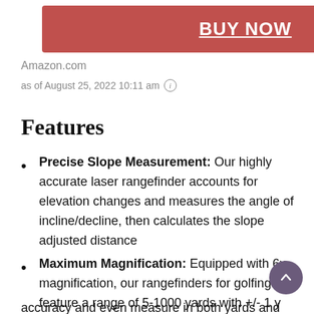[Figure (other): Red BUY NOW button with white underlined bold text]
Amazon.com
as of August 25, 2022 10:11 am ⓘ
Features
Precise Slope Measurement: Our highly accurate laser rangefinder accounts for elevation changes and measures the angle of incline/decline, then calculates the slope adjusted distance
Maximum Magnification: Equipped with 6x magnification, our rangefinders for golfing feature a range of 5-1000 yards with +/- 1 y… accuracy and even measure in both yards and…